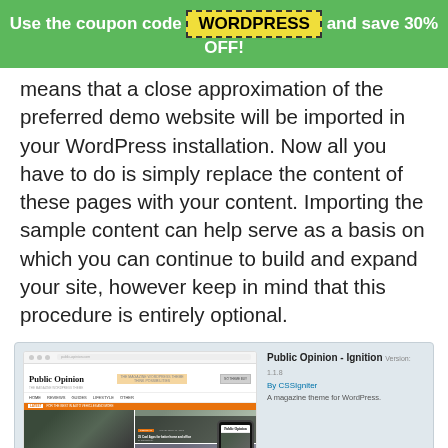Use the coupon code WORDPRESS and save 30% OFF!
means that a close approximation of the preferred demo website will be imported in your WordPress installation. Now all you have to do is simply replace the content of these pages with your content. Importing the sample content can help serve as a basis on which you can continue to build and expand your site, however keep in mind that this procedure is entirely optional.
[Figure (screenshot): Screenshot of a WordPress theme installer showing 'Public Opinion - Ignition' magazine theme preview with a browser mockup of the theme and a mobile phone preview alongside.]